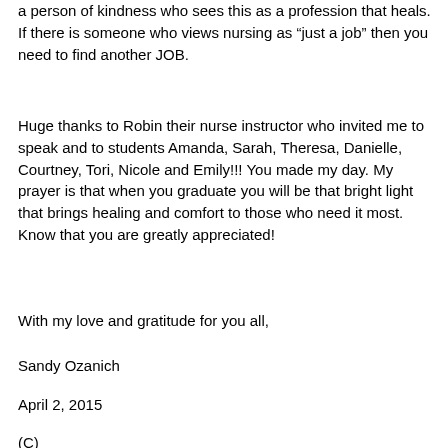a person of kindness who sees this as a profession that heals.  If there is someone who views nursing as “just a job” then you need to find another JOB.
Huge thanks to Robin their nurse instructor who invited me to speak and to students Amanda, Sarah, Theresa, Danielle, Courtney, Tori, Nicole and Emily!!!  You made my day.  My prayer is that when you graduate you will be that bright light that brings healing and comfort to those who need it most.  Know that you are greatly appreciated!
With my love and gratitude for you all,
Sandy Ozanich
April 2, 2015
(C)